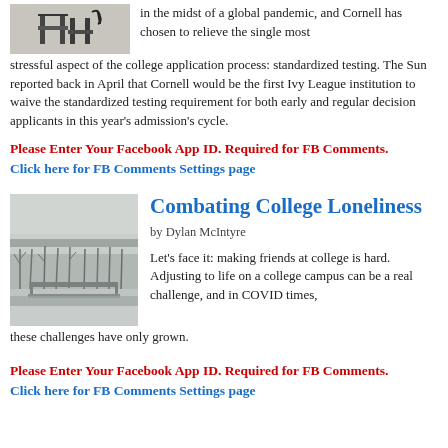[Figure (photo): Partial photo of chairs or furniture in a light indoor or outdoor setting, visible at top left of page]
in the midst of a global pandemic, and Cornell has chosen to relieve the single most stressful aspect of the college application process: standardized testing. The Sun reported back in April that Cornell would be the first Ivy League institution to waive the standardized testing requirement for both early and regular decision applicants in this year's admission's cycle.
Please Enter Your Facebook App ID. Required for FB Comments.
Click here for FB Comments Settings page
[Figure (photo): Grayscale/foggy winter landscape photo showing bare trees and a bridge or structure in the background]
Combating College Loneliness
by Dylan McIntyre
Let's face it: making friends at college is hard. Adjusting to life on a college campus can be a real challenge, and in COVID times, these challenges have only grown.
Please Enter Your Facebook App ID. Required for FB Comments.
Click here for FB Comments Settings page